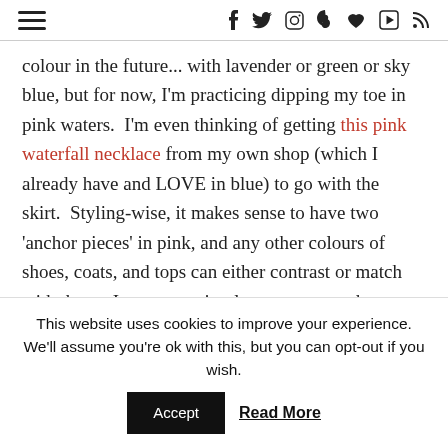≡  f  t  [instagram]  [pinterest]  [heart]  [play]  [rss]
colour in the future... with lavender or green or sky blue, but for now, I'm practicing dipping my toe in pink waters.  I'm even thinking of getting this pink waterfall necklace from my own shop (which I already have and LOVE in blue) to go with the skirt.  Styling-wise, it makes sense to have two 'anchor pieces' in pink, and any other colours of shoes, coats, and tops can either contrast or match with them.  I can put a simple sweater, a tank top, a sweatshirt, or a nice blouse between a pink necklace and a pink skirt and have a range of
This website uses cookies to improve your experience. We'll assume you're ok with this, but you can opt-out if you wish.